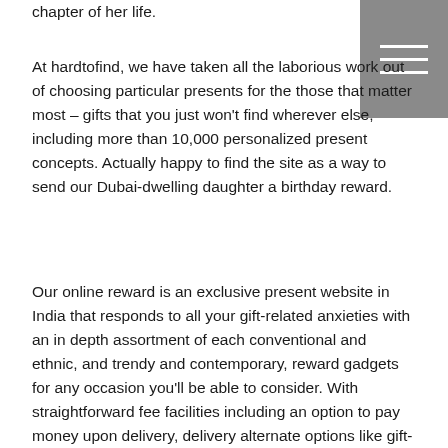chapter of her life.
[Figure (other): Hamburger menu icon — three horizontal white lines on a grey square background, positioned in the top-right corner.]
At hardtofind, we have taken all the laborious work out of choosing particular presents for the those that matter most – gifts that you just won't find wherever else, including more than 10,000 personalized present concepts. Actually happy to find the site as a way to send our Dubai-dwelling daughter a birthday reward.
Our online reward is an exclusive present website in India that responds to all your gift-related anxieties with an in depth assortment of each conventional and ethnic, and trendy and contemporary, reward gadgets for any occasion you'll be able to consider. With straightforward fee facilities including an option to pay money upon delivery, delivery alternate options like gift-arrivals on the identical day, next day and even at midnight (for some objects), smooth return and replacement insurance policies alongside free transport on most reward items, our live gift experience is integrated, trustworthy of f